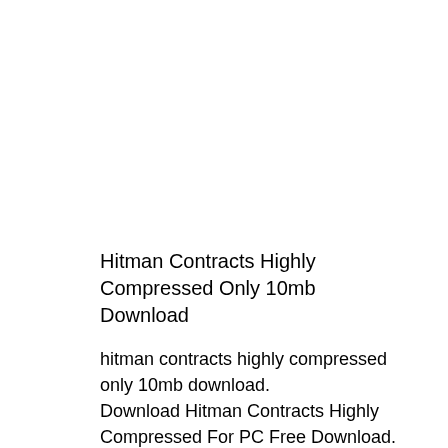Hitman Contracts Highly Compressed Only 10mb Download
hitman contracts highly compressed only 10mb download.
Download Hitman Contracts Highly Compressed For PC Free Download. [10 MB] Hitman Contracts Highly Compressed.